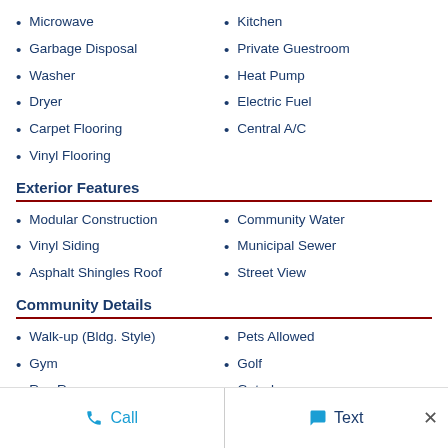Microwave
Garbage Disposal
Washer
Dryer
Carpet Flooring
Vinyl Flooring
Kitchen
Private Guestroom
Heat Pump
Electric Fuel
Central A/C
Exterior Features
Modular Construction
Vinyl Siding
Asphalt Shingles Roof
Community Water
Municipal Sewer
Street View
Community Details
Walk-up (Bldg. Style)
Gym
Rec Room
Pool
Pets Allowed
Golf
Gated
Clubhouse
Call   Text